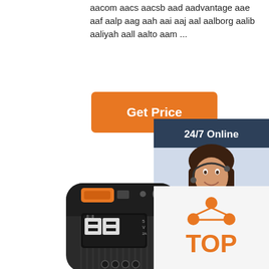aacom aacs aacsb aad aadvantage aae aaf aalp aag aah aai aaj aal aalborg aalib aaliyah aall aalto aam ...
[Figure (other): Orange 'Get Price' button]
[Figure (other): Sidebar with '24/7 Online' header, photo of smiling woman with headset, 'Click here for free chat!' text, and orange QUOTATION button]
[Figure (photo): Black portable power bank / battery pack with orange USB port, LCD display showing digits, and four LED indicators at the bottom]
[Figure (other): TOP badge with orange dot triangle logo above the word TOP in orange]